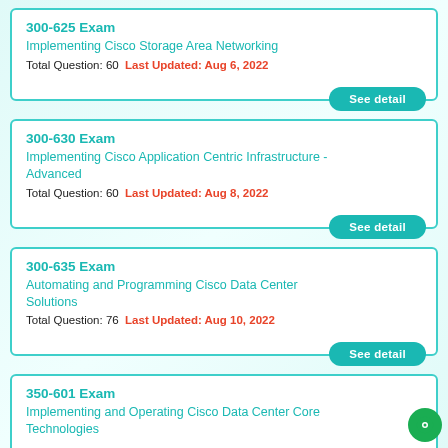300-625 Exam
Implementing Cisco Storage Area Networking
Total Question: 60  Last Updated: Aug 6, 2022
300-630 Exam
Implementing Cisco Application Centric Infrastructure - Advanced
Total Question: 60  Last Updated: Aug 8, 2022
300-635 Exam
Automating and Programming Cisco Data Center Solutions
Total Question: 76  Last Updated: Aug 10, 2022
350-601 Exam
Implementing and Operating Cisco Data Center Core Technologies